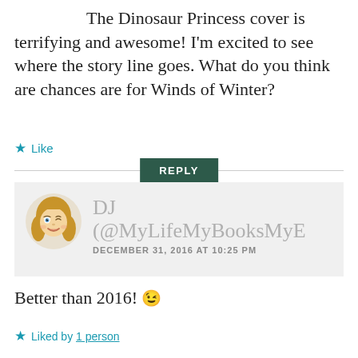The Dinosaur Princess cover is terrifying and awesome! I'm excited to see where the story line goes. What do you think are chances are for Winds of Winter?
Like
REPLY
DJ (@MyLifeMyBooksMyE — DECEMBER 31, 2016 AT 10:25 PM
Better than 2016! 😉
Liked by 1 person